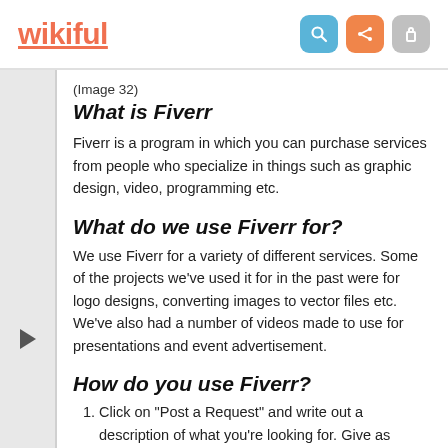wikiful
(Image 32)
What is Fiverr
Fiverr is a program in which you can purchase services from people who specialize in things such as graphic design, video, programming etc.
What do we use Fiverr for?
We use Fiverr for a variety of different services. Some of the projects we've used it for in the past were for logo designs, converting images to vector files etc. We've also had a number of videos made to use for presentations and event advertisement.
How do you use Fiverr?
Click on “Post a Request” and write out a description of what you’re looking for. Give as